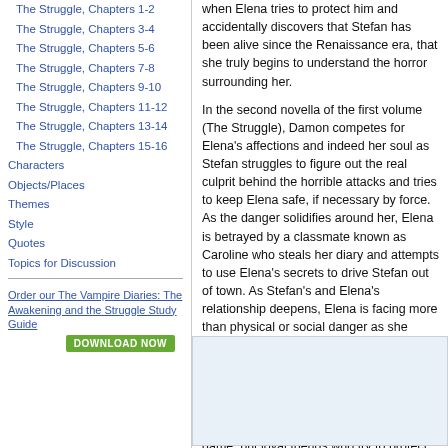The Struggle, Chapters 1-2
The Struggle, Chapters 3-4
The Struggle, Chapters 5-6
The Struggle, Chapters 7-8
The Struggle, Chapters 9-10
The Struggle, Chapters 11-12
The Struggle, Chapters 13-14
The Struggle, Chapters 15-16
Characters
Objects/Places
Themes
Style
Quotes
Topics for Discussion
Order our The Vampire Diaries: The Awakening and the Struggle Study Guide
when Elena tries to protect him and accidentally discovers that Stefan has been alive since the Renaissance era, that she truly begins to understand the horror surrounding her.
In the second novella of the first volume (The Struggle), Damon competes for Elena's affections and indeed her soul as Stefan struggles to figure out the real culprit behind the horrible attacks and tries to keep Elena safe, if necessary by force. As the danger solidifies around her, Elena is betrayed by a classmate known as Caroline who steals her diary and attempts to use Elena's secrets to drive Stefan out of town. As Stefan's and Elena's relationship deepens, Elena is facing more than physical or social danger as she succumbs to the dangerous allure of the evil vampire Damon.
Accompanying Elena on her journey is her trio of close friends: Bonnie, Meredith and Matt who are unwitting pawns in a deadly game, but loyal friends who try to protect their friend without really understanding the danger surrounding her.
Read more from the Study Guide
This section contains 402 words
(approx. 2 pages at 400 words per page)
View a FREE sample
[Figure (other): Advertisement box with light blue background]